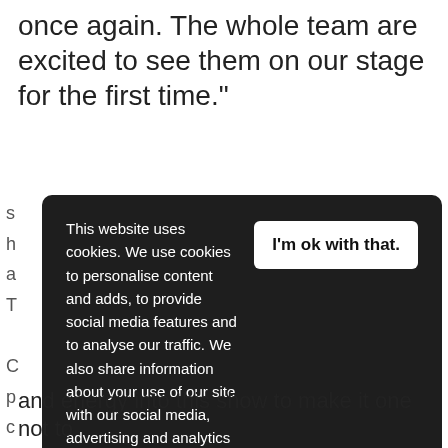once again. The whole team are excited to see them on our stage for the first time."
This website uses cookies. We use cookies to personalise content and adds, to provide social media features and to analyse our traffic. We also share information about your use of our site with our social media, advertising and analytics partners who may combine it with other information that you've provided to them or that they've collected from your use of their services. Learn more
I'm ok with that.
and energy into this show to make it one not to